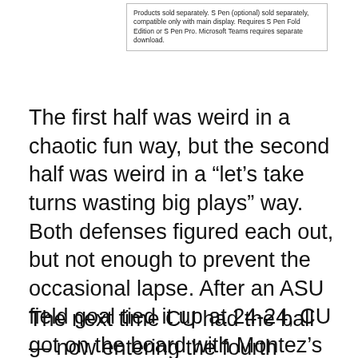Products sold separately. S Pen (optional) sold separately, compatible only with main display. Requires S Pen Fold Edition or S Pen Pro. Microsoft Teams requires separate download.
The first half was weird in a chaotic fun way, but the second half was weird in a “let’s take turns wasting big plays” way. Both defenses figured each out, but not enough to prevent the occasional lapse. After an ASU field goal tied it up at 24-24, CU got on the board with Montez’s third long touchdown pass to Brown. But that lead lasted for all of two minutes before Daniels found Frank Darby for a 39-yard touchdown. (If there was a theme to the night, it was that Montez was sharp and has very skilled receivers, and Arizona State is a whole lot faster than CU’s defense.)
The next time CU had the ball — now entering the fourth quarter — they wasted a long Nixon catch-and-